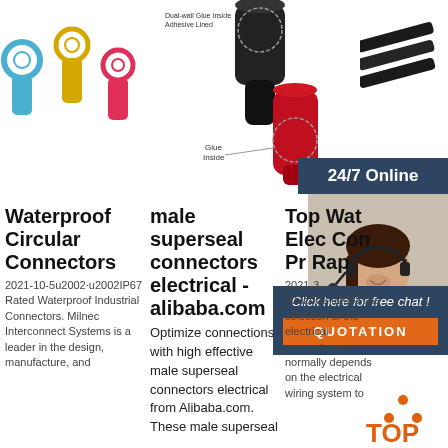[Figure (photo): Waterproof circular ring terminal connectors in blue, yellow, and pink/red colors]
[Figure (photo): Heat shrink tubing diagram showing dual-wall glue inside adhesive lined with red and black shrink tube examples and 'Glue Inside' label]
[Figure (photo): Black heat shrink tubes/rods shown at an angle]
24/7 Online
[Figure (photo): Customer service woman wearing headset, smiling]
Click here for free chat !
QUOTATION
Waterproof Circular Connectors
2021-10-5u2002·u2002IP67 Rated Waterproof Industrial Connectors. Milnec Interconnect Systems is a leader in the design, manufacture, and
male superseal connectors electrical - alibaba.com
Optimize connections with high effective male superseal connectors electrical from Alibaba.com. These male superseal
Top Wat Elec Con Pr Rap
2021-3-30u2002·u2002The selection of the electrical connectors normally depends on the electrical wiring system to
[Figure (logo): TOP logo with orange triangle dots and orange text]